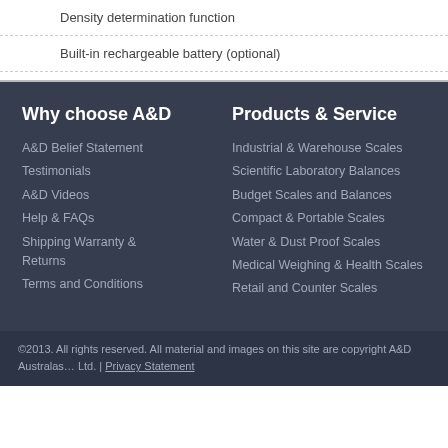Density determination function
Built-in rechargeable battery (optional)
Why choose A&D
A&D Belief Statement
Testimonials
A&D Videos
Help & FAQs
Shipping Warranty & Returns
Terms and Conditions
Products & Service
Industrial & Warehouse Scales
Scientific Laboratory Balances
Budget Scales and Balances
Compact & Portable Scales
Water & Dust Proof Scales
Medical Weighing & Health Scales
Retail and Counter Scales
©2013. All rights reserved. All material and images on this site are copyright A&D Australas… Ltd. | Privacy Statement